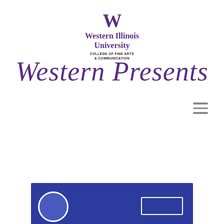[Figure (logo): Western Illinois University logo with purple W, university name, and College of Fine Arts & Communication text]
Western Presents
[Figure (other): Hamburger menu icon (three horizontal gray lines)]
[Figure (other): Blue banner/card section at the bottom of the page with a circular logo and a rectangular button outline]